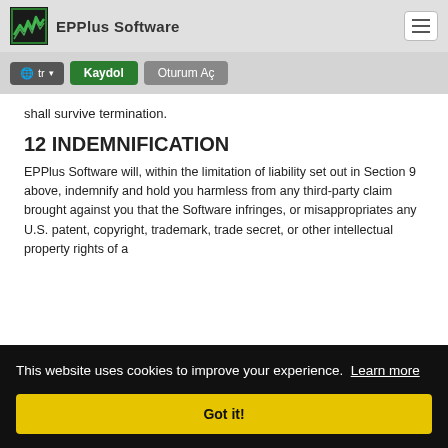EPPlus Software
shall survive termination.
12 INDEMNIFICATION
EPPlus Software will, within the limitation of liability set out in Section 9 above, indemnify and hold you harmless from any third-party claim brought against you that the Software infringes, or misappropriates any U.S. patent, copyright, trademark, trade secret, or other intellectual property rights of a ... ...ed by ...ne ...ent ...g of the claim; (v) granting EPPlus Software sole control of the selection of counsel, defense, and settlement of the claim; and
This website uses cookies to improve your experience. Learn more
Got it!